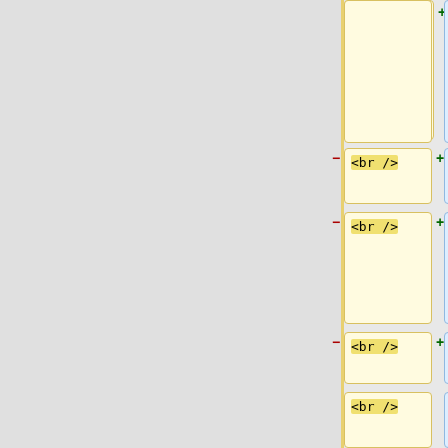[Figure (screenshot): Diff view showing removed and added lines in a wiki/code comparison tool. Left column shows removed content (highlighted yellow with minus signs), right column shows added content (highlighted blue with plus signs). Rows show: '06:06, 24 November 2006 (PST)', '<br />' lines, '== Proposal for a developer section ==', empty lines, and 'As more developers start to get it about how ultra cool Ogg / Vorbis / Theora / etc is, wouldn't it']